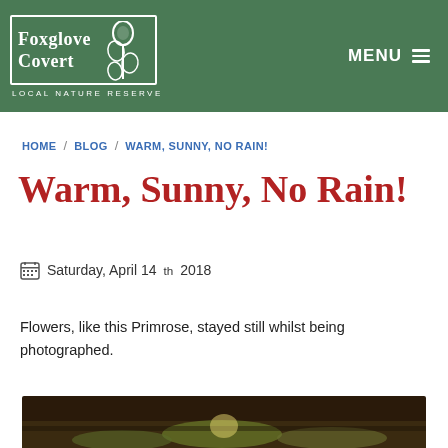Foxglove Covert LOCAL NATURE RESERVE | MENU
HOME / BLOG / WARM, SUNNY, NO RAIN!
Warm, Sunny, No Rain!
Saturday, April 14th 2018
Flowers, like this Primrose, stayed still whilst being photographed.
[Figure (photo): Bottom strip showing a dark close-up photo of a primrose flower with green foliage]